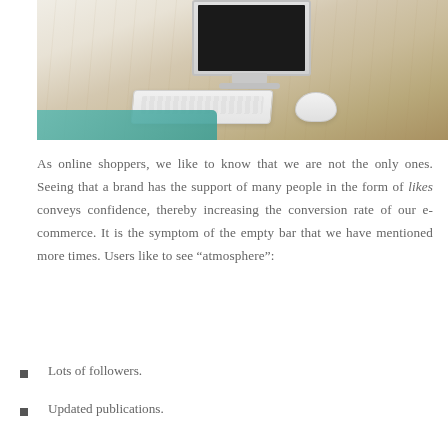[Figure (photo): A wooden desk with an Apple iMac computer, Apple Magic Keyboard, and Apple Magic Mouse. A teal colored desk pad is visible in the lower left corner of the desk.]
As online shoppers, we like to know that we are not the only ones. Seeing that a brand has the support of many people in the form of likes conveys confidence, thereby increasing the conversion rate of our e-commerce. It is the symptom of the empty bar that we have mentioned more times. Users like to see “atmosphere”:
Lots of followers.
Updated publications.